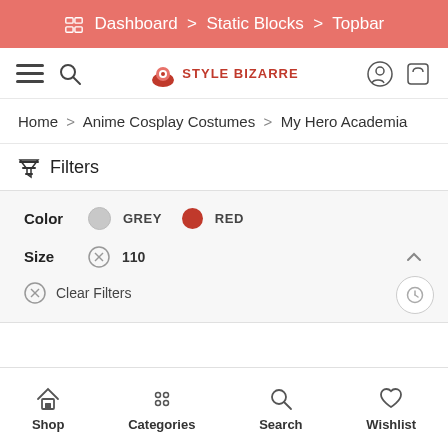Dashboard > Static Blocks > Topbar
[Figure (screenshot): Style Bizarre e-commerce navigation bar with hamburger menu, search icon, logo, account and cart icons]
Home > Anime Cosplay Costumes > My Hero Academia
Filters
Color  GREY  RED
Size  110
Clear Filters
Shop  Categories  Search  Wishlist